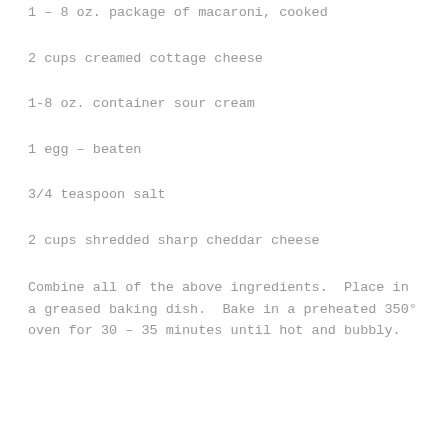1 – 8 oz. package of macaroni, cooked
2 cups creamed cottage cheese
1-8 oz. container sour cream
1 egg – beaten
3/4 teaspoon salt
2 cups shredded sharp cheddar cheese
Combine all of the above ingredients.  Place in a greased baking dish.  Bake in a preheated 350° oven for 30 – 35 minutes until hot and bubbly.